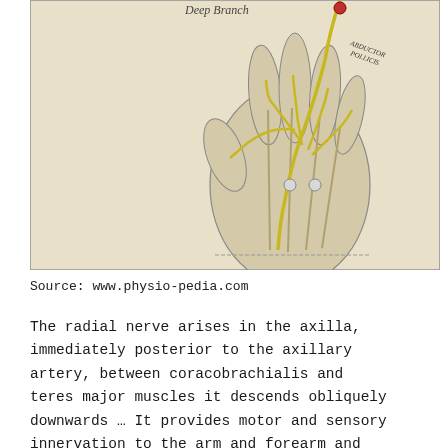[Figure (illustration): Anatomical illustration of the deep branch of the radial nerve in the hand, showing yellow nerve pathways over tendons and muscles of the dorsal hand, labeled 'Deep Branch' at top. Vintage medical illustration with beige/cream background.]
Source: www.physio-pedia.com
The radial nerve arises in the axilla, immediately posterior to the axillary artery, between coracobrachialis and teres major muscles it descends obliquely downwards … It provides motor and sensory innervation to the arm and forearm and sensory innervation to the hand. Th...